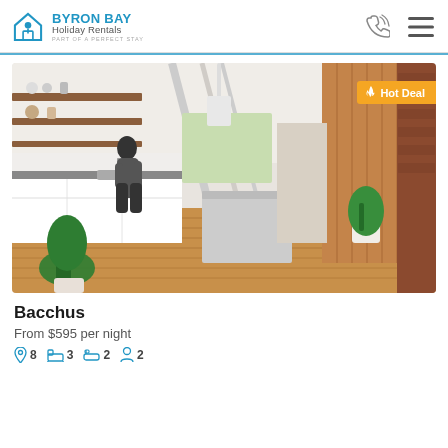Byron Bay Holiday Rentals — Part of a Perfect Stay
[Figure (photo): Interior photo of a modern open-plan kitchen and living area with timber floors, white cabinetry, exposed beam ceiling, a woman at the sink, plants, and a Hot Deal badge in the top-right corner.]
Bacchus
From $595 per night
8 bedrooms, 3 bathrooms, 2 parking, 2 other amenities